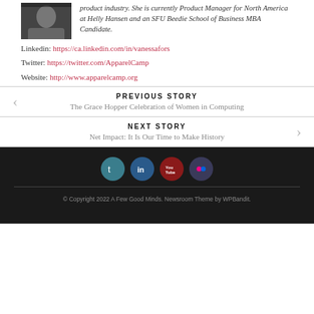[Figure (photo): Portrait photo of a person (partially visible, dark background)]
product industry. She is currently Product Manager for North America at Helly Hansen and an SFU Beedie School of Business MBA Candidate.
Linkedin: https://ca.linkedin.com/in/vanessafors
Twitter: https://twitter.com/ApparelCamp
Website: http://www.apparelcamp.org
PREVIOUS STORY
The Grace Hopper Celebration of Women in Computing
NEXT STORY
Net Impact: It Is Our Time to Make History
[Figure (infographic): Social media icons: Twitter, LinkedIn, YouTube, Flickr]
© Copyright 2022 A Few Good Minds. Newsroom Theme by WPBandit.